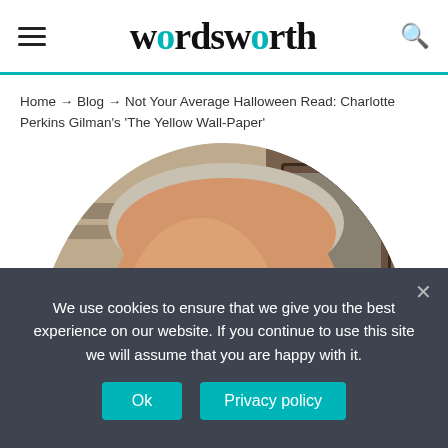wordsworth
Home → Blog → Not Your Average Halloween Read: Charlotte Perkins Gilman's 'The Yellow Wall-Paper'
[Figure (photo): Photo of a smiling older man with glasses, adjusting his glasses with one hand, wearing a grey blazer and dark turtleneck, with framed pictures in the background.]
We use cookies to ensure that we give you the best experience on our website. If you continue to use this site we will assume that you are happy with it.